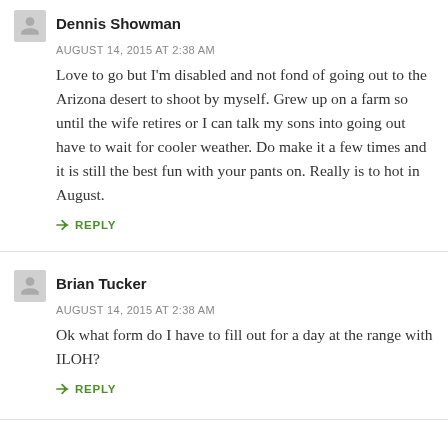Dennis Showman
AUGUST 14, 2015 AT 2:38 AM
Love to go but I'm disabled and not fond of going out to the Arizona desert to shoot by myself. Grew up on a farm so until the wife retires or I can talk my sons into going out have to wait for cooler weather. Do make it a few times and it is still the best fun with your pants on. Really is to hot in August.
REPLY
Brian Tucker
AUGUST 14, 2015 AT 2:38 AM
Ok what form do I have to fill out for a day at the range with ILOH?
REPLY